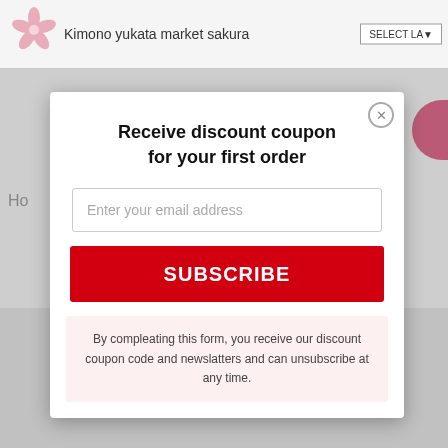Kimono yukata market sakura | SELECT LA
Receive discount coupon for your first order
Enter your email address
SUBSCRIBE
By compleating this form, you receive our discount coupon code and newslatters and can unsubscribe at any time.